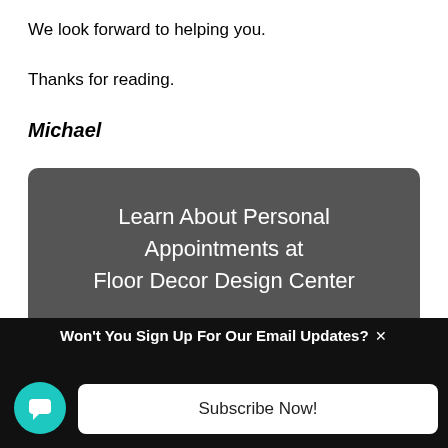We look forward to helping you.
Thanks for reading.
Michael
[Figure (other): Dark gray rounded button with white text: Learn About Personal Appointments at Floor Decor Design Center]
[Figure (other): Row of social media icon buttons (blue Facebook, blue Twitter, dark blue, red YouTube, orange RSS)]
Won't You Sign Up For Our Email Updates? ×
Subscribe Now!